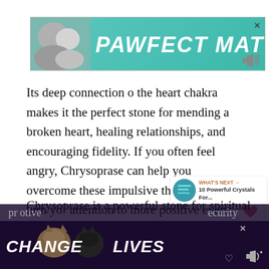[Figure (screenshot): Advertisement banner with teal background showing dog photo and text 'PAWFECT MATCH']
Its deep connection o the heart chakra makes it the perfect stone for mending a broken heart, healing relationships, and encouraging fidelity. If you often feel angry, Chrysoprase can help you overcome these impulsive thoughts and turn your attention to more positive events happening in your life.
Chrysoprase is a powerful stone for spiritual
[Figure (screenshot): Advertisement banner with dark purple background showing cats and text 'CHANGE LIVES']